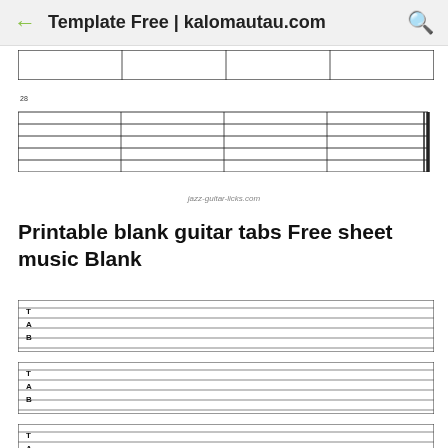Template Free | kalomautau.com
[Figure (other): Blank guitar tab staff with 6 lines and measure dividers, partial view at top]
28
[Figure (other): Blank guitar tab staff with 6 lines, measure dividers, and double bar line at end]
jazz-guitar-licks.com
Printable blank guitar tabs Free sheet music Blank
[Figure (other): Blank guitar TAB staff with T A B label on left and 6 horizontal lines]
[Figure (other): Blank guitar TAB staff with T A B label on left and 6 horizontal lines]
[Figure (other): Blank guitar TAB staff with T A B label on left and 6 horizontal lines]
[Figure (other): Blank guitar TAB staff with T A B label on left (partial, cut off at bottom)]